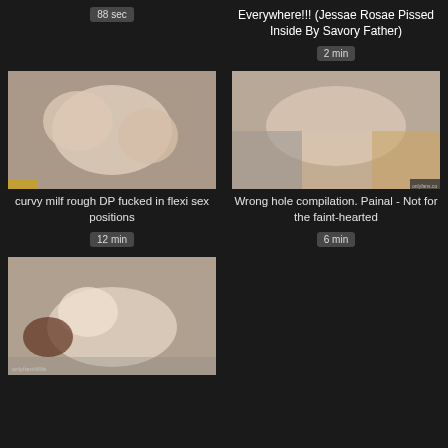88 sec
Everywhere!!! (Jessae Rosae Pissed Inside By Savory Father)
2 min
[Figure (photo): Video thumbnail showing intimate scene]
curvy milf rough DP fucked in flexi sex positions
12 min
[Figure (photo): Video thumbnail showing intimate scene]
Wrong hole compilation. Painal - Not for the faint-hearted
6 min
[Figure (photo): Video thumbnail showing intimate scene]